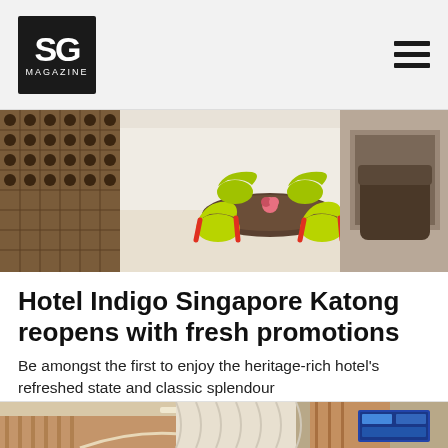SG MAGAZINE
[Figure (photo): Restaurant or cafe interior with colorful green and red chairs around a round table, wine rack shelving on the left wall, bright modern dining space.]
Hotel Indigo Singapore Katong reopens with fresh promotions
Be amongst the first to enjoy the heritage-rich hotel's refreshed state and classic splendour
[Figure (photo): Hotel interior showing warm wood paneling, curved architectural elements, soft lighting, and a digital display screen on the wall.]